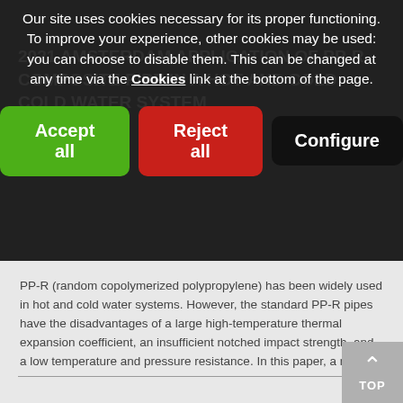Our site uses cookies necessary for its proper functioning. To improve your experience, other cookies may be used: you can choose to disable them. This can be changed at any time via the Cookies link at the bottom of the page.
2021 AMSTERDAM APPLICATION OF PP-R COMPOSITE PIPE IN A HOT AND COLD WATER SYSTEM
PP-R (random copolymerized polypropylene) has been widely used in hot and cold water systems. However, the standard PP-R pipes have the disadvantages of a large high-temperature thermal expansion coefficient, an insufficient notched impact strength, and a low temperature and pressure resistance. In this paper, a new...